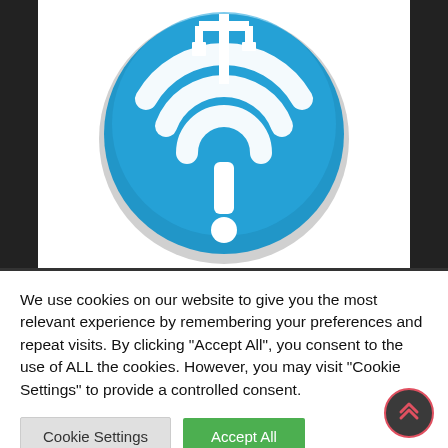[Figure (logo): Blue circular icon with white WiFi signal bars and a USB/connector symbol combined, with a white exclamation mark below, on a light gray circular shadow background]
We use cookies on our website to give you the most relevant experience by remembering your preferences and repeat visits. By clicking "Accept All", you consent to the use of ALL the cookies. However, you may visit "Cookie Settings" to provide a controlled consent.